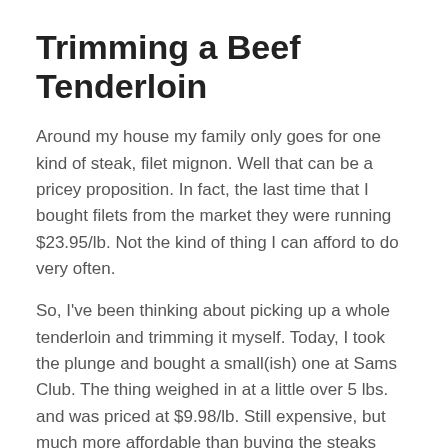Trimming a Beef Tenderloin
Around my house my family only goes for one kind of steak, filet mignon.  Well that can be a pricey proposition.  In fact, the last time that I bought filets from the market they were running $23.95/lb.  Not the kind of thing I can afford to do very often.
So, I've been thinking about picking up a whole tenderloin and trimming it myself.  Today, I took the plunge and bought a small(ish) one at Sams Club.  The thing weighed in at a little over 5 lbs. and was priced at $9.98/lb.  Still expensive, but much more affordable than buying the steaks individually.
Now I'd never trimmed a tenderloin before but I figured, how hard can it be?  Well the step by step guidance was